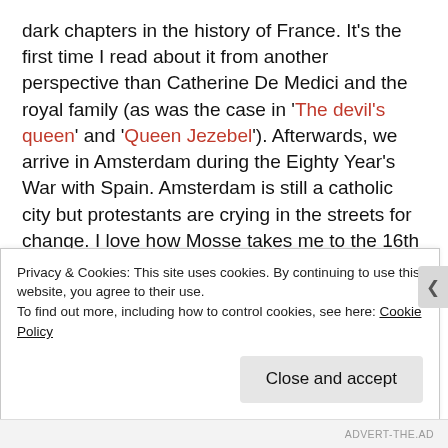dark chapters in the history of France. It's the first time I read about it from another perspective than Catherine De Medici and the royal family (as was the case in 'The devil's queen' and 'Queen Jezebel'). Afterwards, we arrive in Amsterdam during the Eighty Year's War with Spain. Amsterdam is still a catholic city but protestants are crying in the streets for change. I love how Mosse takes me to the 16th century but without the traditional focus on The Tudors. This is also fascinating European history, but often overlooked
Privacy & Cookies: This site uses cookies. By continuing to use this website, you agree to their use.
To find out more, including how to control cookies, see here: Cookie Policy
Close and accept
ADVERT-THE.AD